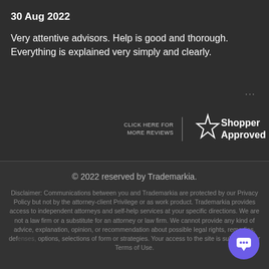30 Aug 2022
Very attentive advisors. Help is good and thorough. Everything is explained very simply and clearly.
[Figure (logo): Shopper Approved badge with star logo and text CLICK HERE FOR MORE REVIEWS | Shopper Approved]
© 2022 reserved by Trademarkia.

Disclaimer: Communications between you and Trademarkia are protected by our Privacy Policy but not by the attorney-client Privilege or as work product. Trademarkia provides access to independent attorneys and self-help services at your specific directions. We are not a law firm or a substitute for an attorney or law firm. We cannot provide any kind of advice, explanation, opinion, or recommendation about possible legal rights, remedies, defenses, options, selections of form or strategies. Your access to the site is subject to our Terms of Use.